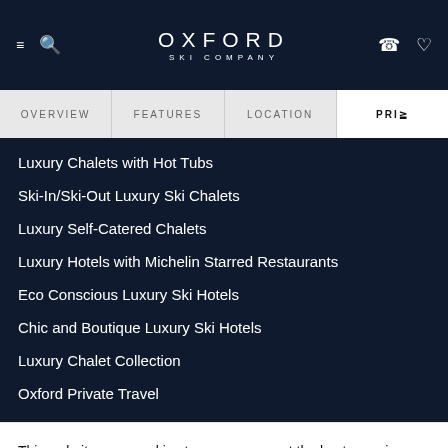OXFORD SKI COMPANY
Luxury Chalets with Hot Tubs
Ski-In/Ski-Out Luxury Ski Chalets
Luxury Self-Catered Chalets
Luxury Hotels with Michelin Starred Restaurants
Eco Conscious Luxury Ski Hotels
Chic and Boutique Luxury Ski Hotels
Luxury Chalet Collection
Oxford Private Travel
This website uses cookies to ensure you get the best experience on our website.
OKAY
Privacy policy